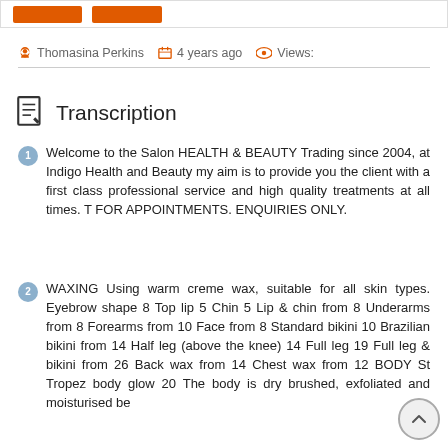[buttons/navigation bar at top]
Thomasina Perkins   4 years ago   Views:
Transcription
1 Welcome to the Salon HEALTH & BEAUTY Trading since 2004, at Indigo Health and Beauty my aim is to provide you the client with a first class professional service and high quality treatments at all times. T FOR APPOINTMENTS. ENQUIRIES ONLY.
2 WAXING Using warm creme wax, suitable for all skin types. Eyebrow shape 8 Top lip 5 Chin 5 Lip & chin from 8 Underarms from 8 Forearms from 10 Face from 8 Standard bikini 10 Brazilian bikini from 14 Half leg (above the knee) 14 Full leg 19 Full leg & bikini from 26 Back wax from 14 Chest wax from 12 BODY St Tropez body glow 20 The body is dry brushed, exfoliated and moisturised before treatment is applied...